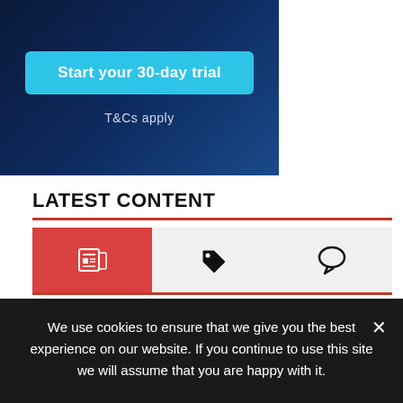[Figure (screenshot): Dark blue gradient banner with a cyan 'Start your 30-day trial' button and 'T&Cs apply' text below]
LATEST CONTENT
[Figure (infographic): Tab bar with three icons: newspaper/article icon (active, red background), tag icon, and comment/speech bubble icon]
Casino Industry Innovations You Might Have Not Heard Of
Is It Possible to Play CS:GO Well on PS Vita?
We use cookies to ensure that we give you the best experience on our website. If you continue to use this site we will assume that you are happy with it.